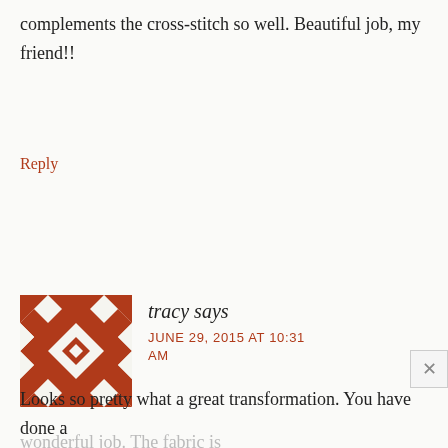complements the cross-stitch so well. Beautiful job, my friend!!
Reply
[Figure (illustration): Square geometric quilt-pattern avatar in brown/rust color with white cross and diamond shapes]
tracy says
JUNE 29, 2015 AT 10:31 AM
Looks so pretty what a great transformation. You have done a wonderful job. The fabric is